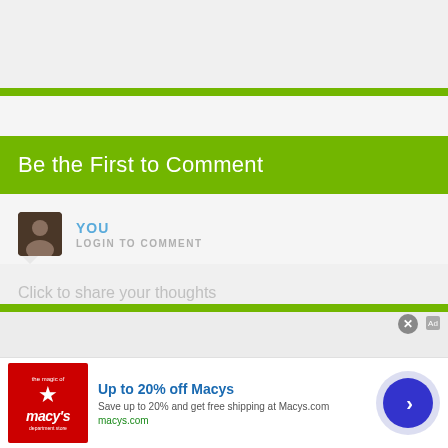Be the First to Comment
YOU
LOGIN TO COMMENT
Click to share your thoughts
[Figure (screenshot): White content card placeholder in gray background section]
[Figure (screenshot): Advertisement banner: Macy's logo (red square with star and macy's text), title 'Up to 20% off Macys', description 'Save up to 20% and get free shipping at Macys.com', link 'macys.com', blue circle arrow button on right]